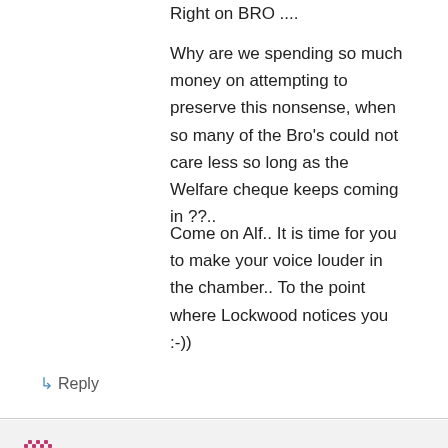Right on BRO ....
Why are we spending so much money on attempting to preserve this nonsense, when so many of the Bro's could not care less so long as the Welfare cheque keeps coming in ??..
Come on Alf.. It is time for you to make your voice louder in the chamber.. To the point where Lockwood notices you :-))
↳ Reply
Alf Grumble on October 26, 2010 at 12:28 pm
Thanks for the encouragement, adam2314. Trouble is, last time he noticed Alf, The Speaker threw him out of the chamber.